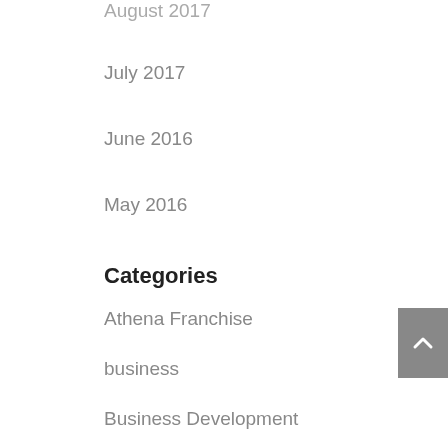August 2017
July 2017
June 2016
May 2016
Categories
Athena Franchise
business
Business Development
Business Networking
Business Tips
life
Member Post